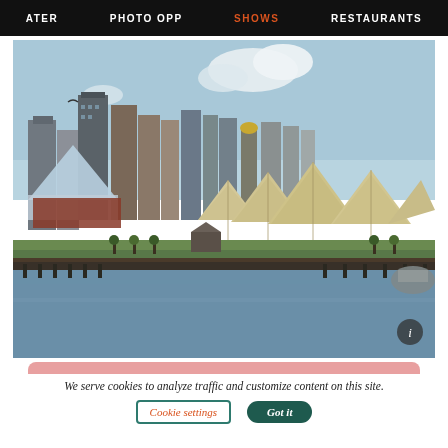ATER   PHOTO OPP   SHOWS   RESTAURANTS
[Figure (photo): Aerial/waterfront view of Baltimore Inner Harbor skyline with tent pavilion structures in the foreground on a pier, city skyscrapers and National Aquarium in the background, blue sky with clouds]
We serve cookies to analyze traffic and customize content on this site.
Cookie settings   Got it